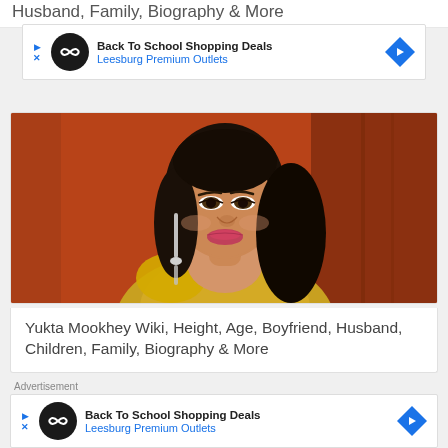Husband, Family, Biography & More
[Figure (infographic): Advertisement banner: Back To School Shopping Deals, Leesburg Premium Outlets with brand icon and directional arrow]
[Figure (photo): Photo of Yukta Mookhey, a woman with long dark hair, wearing a gold dress and dangling earrings, posed against an orange/red background]
Yukta Mookhey Wiki, Height, Age, Boyfriend, Husband, Children, Family, Biography & More
Advertisement
[Figure (infographic): Advertisement banner: Back To School Shopping Deals, Leesburg Premium Outlets with brand icon and directional arrow]